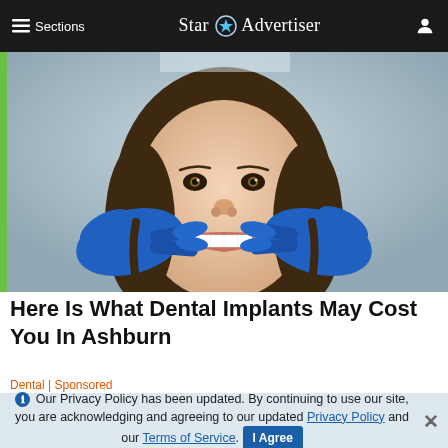≡ Sections  Star ✦ Advertiser  [user icon]
[Figure (photo): A smiling young woman with brown hair having her teeth examined by a dentist wearing blue latex gloves. The dentist's gloved hands are pulling back her lips to reveal her teeth. Clinical background.]
Here Is What Dental Implants May Cost You In Ashburn
Dental | Sponsored
ℹ Our Privacy Policy has been updated. By continuing to use our site, you are acknowledging and agreeing to our updated Privacy Policy and our Terms of Service. I Agree